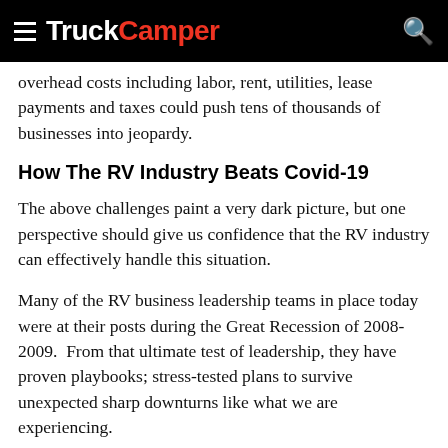TruckCamper
overhead costs including labor, rent, utilities, lease payments and taxes could push tens of thousands of businesses into jeopardy.
How The RV Industry Beats Covid-19
The above challenges paint a very dark picture, but one perspective should give us confidence that the RV industry can effectively handle this situation.
Many of the RV business leadership teams in place today were at their posts during the Great Recession of 2008-2009.  From that ultimate test of leadership, they have proven playbooks; stress-tested plans to survive unexpected sharp downturns like what we are experiencing.
More importantly, these leadership teams know